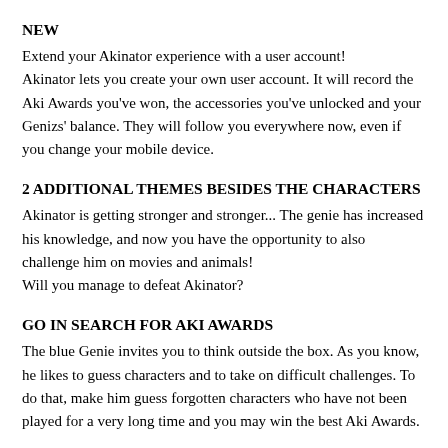NEW
Extend your Akinator experience with a user account! Akinator lets you create your own user account. It will record the Aki Awards you've won, the accessories you've unlocked and your Genizs' balance. They will follow you everywhere now, even if you change your mobile device.
2 ADDITIONAL THEMES BESIDES THE CHARACTERS
Akinator is getting stronger and stronger... The genie has increased his knowledge, and now you have the opportunity to also challenge him on movies and animals! Will you manage to defeat Akinator?
GO IN SEARCH FOR AKI AWARDS
The blue Genie invites you to think outside the box. As you know, he likes to guess characters and to take on difficult challenges. To do that, make him guess forgotten characters who have not been played for a very long time and you may win the best Aki Awards.